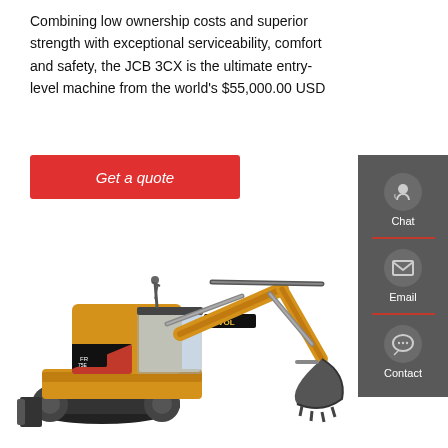Combining low ownership costs and superior strength with exceptional serviceability, comfort and safety, the JCB 3CX is the ultimate entry-level machine from the world's $55,000.00 USD
[Figure (other): Red button with text 'Get a quote' in white italic text]
[Figure (other): Dark gray sidebar with Chat (headset icon), Email (envelope icon), and Contact (speech bubble icon) options, separated by red dividers]
[Figure (photo): Yellow LOVOL tracked excavator (model FR75E) with black tracks, boom arm extended with bucket, shown on white background]